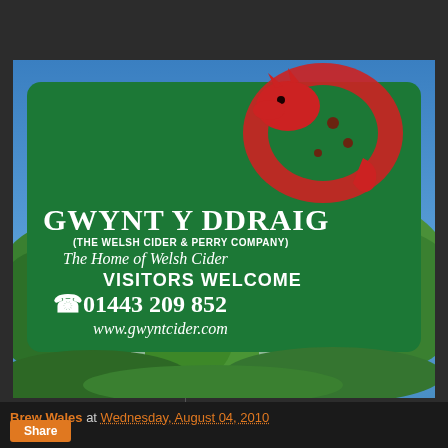[Figure (photo): Photograph of a green sign for Gwynt Y Ddraig (The Welsh Cider & Perry Company) with a red dragon logo, showing text: 'GWYNT Y DDRAIG (THE WELSH CIDER & PERRY COMPANY) The Home of Welsh Cider VISITORS WELCOME 01443 209 852 www.gwyntcider.com'. Sign is mounted on posts with trees and blue sky in background.]
From Brew Wales
Brew Wales at Wednesday, August 04, 2010
Share